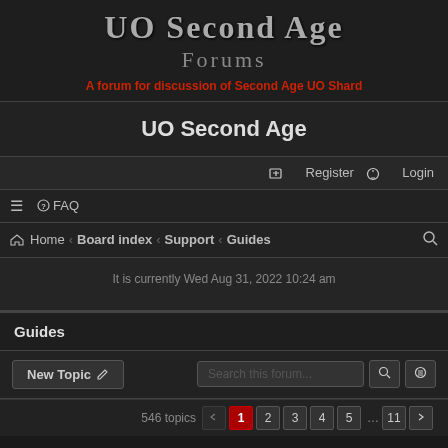UO Second Age Forums
A forum for discussion of Second Age UO Shard
UO Second Age
Register  Login
≡  FAQ
Home › Board index › Support › Guides
It is currently Wed Aug 31, 2022 10:24 am
Guides
New Topic  Search this forum...
546 topics   1  2  3  4  5  ...  11  »